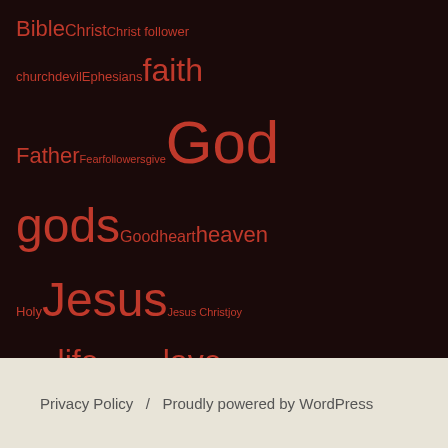[Figure (infographic): Tag cloud on dark background with religious terms in various sizes. Terms include: Bible, Christ, Christ follower, church, devil, Ephesians, faith, Father, Fear, followers, give, God, gods, Good, heart, heaven, Holy, Jesus, Jesus Christ, joy, kingdom, life, Live, lives, Lord, love, peace, people, person, power, prayer, relationships, in, Spirit, time, trust, verse, way, Word, work, world, Worship]
Privacy Policy  /  Proudly powered by WordPress